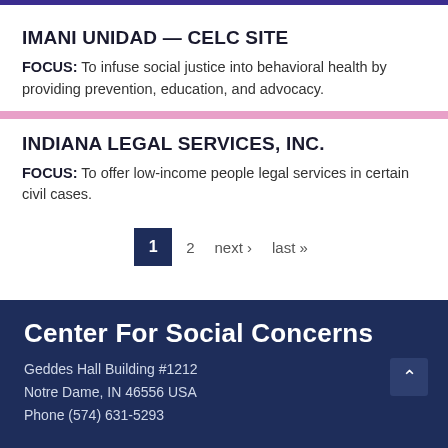IMANI UNIDAD — CELC SITE
FOCUS: To infuse social justice into behavioral health by providing prevention, education, and advocacy.
INDIANA LEGAL SERVICES, INC.
FOCUS: To offer low-income people legal services in certain civil cases.
1  2  next ›  last »
Center For Social Concerns
Geddes Hall Building #1212
Notre Dame, IN 46556 USA
Phone (574) 631-5293